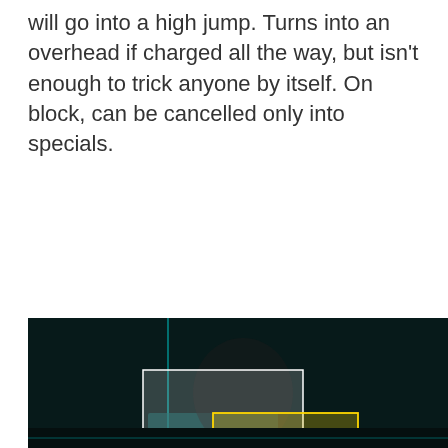will go into a high jump. Turns into an overhead if charged all the way, but isn't enough to trick anyone by itself. On block, can be cancelled only into specials.
[Figure (screenshot): A fighting game hitbox viewer screenshot showing a character (green outfit) in a punching/attacking pose. Multiple colored hitbox overlays are visible: green boxes (hurtboxes) around the character's body and limbs, yellow boxes near the chest/torso area, red/orange boxes showing attack hitboxes extending forward, a white/gray box above, and a pink/purple box on the right side near the opponent's fist. The background is dark teal/black with cyan crosshair lines.]
[Figure (screenshot): Bottom partial screenshot strip, dark background, partially visible.]